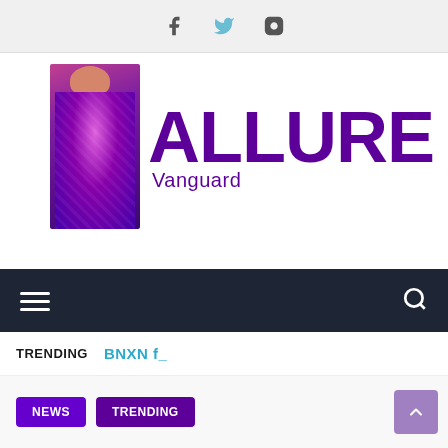Social icons: Facebook, Twitter, Instagram
[Figure (logo): Allure Vanguard logo — purple bold ALLURE text with Vanguard subtitle and woman in sequined purple dress on left]
Navigation bar with hamburger menu and search icon
TRENDING  BNXN f_
NEWS  TRENDING